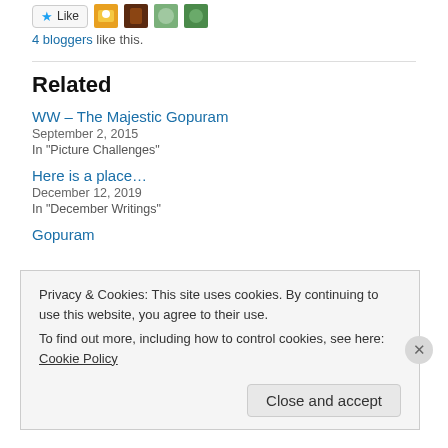[Figure (other): Like button with star icon and four blogger avatar thumbnails]
4 bloggers like this.
Related
WW – The Majestic Gopuram
September 2, 2015
In "Picture Challenges"
Here is a place…
December 12, 2019
In "December Writings"
Gopuram
Privacy & Cookies: This site uses cookies. By continuing to use this website, you agree to their use.
To find out more, including how to control cookies, see here: Cookie Policy
Close and accept